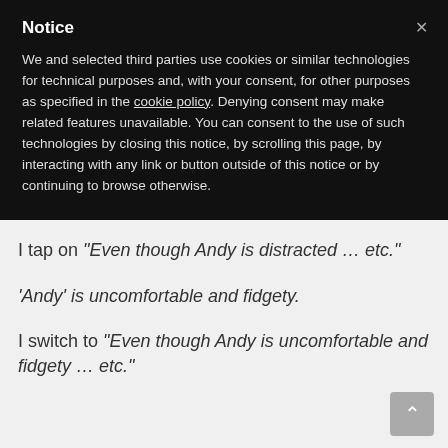Notice
We and selected third parties use cookies or similar technologies for technical purposes and, with your consent, for other purposes as specified in the cookie policy. Denying consent may make related features unavailable. You can consent to the use of such technologies by closing this notice, by scrolling this page, by interacting with any link or button outside of this notice or by continuing to browse otherwise.
I tap on “Even though Andy is distracted … etc.”
‘Andy’ is uncomfortable and fidgety.
I switch to “Even though Andy is uncomfortable and fidgety … etc.”